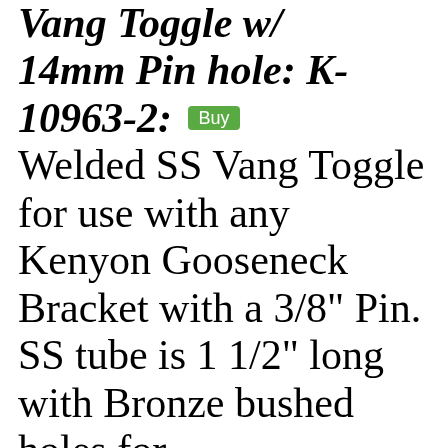Vang Toggle w/ 14mm Pin hole: K-10963-2: [Buy] Welded SS Vang Toggle for use with any Kenyon Gooseneck Bracket with a 3/8" Pin. SS tube is 1 1/2" long with Bronze bushed holes for